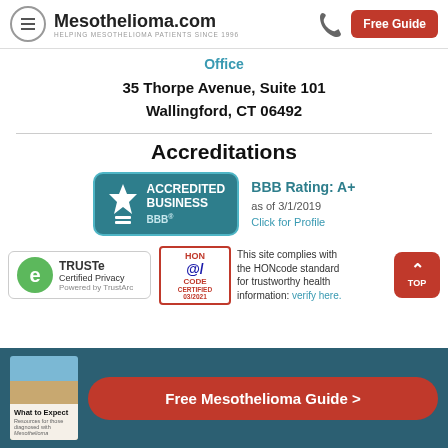Mesothelioma.com — HELPING MESOTHELIOMA PATIENTS SINCE 1996
Office
35 Thorpe Avenue, Suite 101
Wallingford, CT 06492
Accreditations
[Figure (logo): BBB Accredited Business badge with teal background. BBB Rating: A+ as of 3/1/2019. Click for Profile.]
[Figure (logo): TRUSTe Certified Privacy — Powered by TrustArc badge]
[Figure (logo): HON CODE CERTIFIED 03/2021 badge. Text: This site complies with the HONcode standard for trustworthy health information: verify here.]
[Figure (illustration): What to Expect — Resources for those diagnosed with Mesothelioma guide book cover]
Free Mesothelioma Guide >